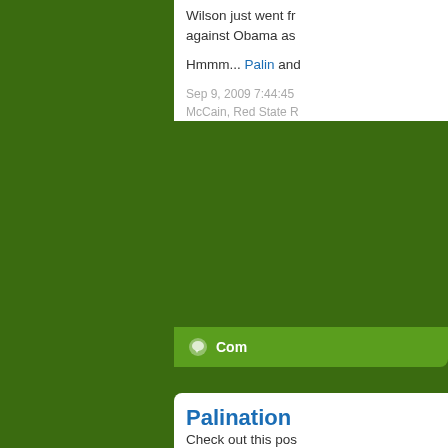Wilson just went fr against Obama as

Hmmm... Palin and

Sep 9, 2009 7:44:45
McCain, Red State R
Com
Palination
Check out this pos
[Figure (photo): Partial photo of Sarah Palin with brown hair and glasses, outdoors with blue sky and trees in background]